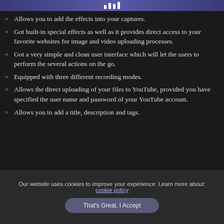Allows you to add the effects into your captures.
Got built-in special effects as well as it provides direct access to your favorite websites for image and video uploading processes.
Got a very simple and clean user interface which will let the users to perform the several actions on the go.
Equipped with three different recording modes.
Allows the direct uploading of your files to YouTube, provided you have specified the user name and password of your YouTube account.
Allows you to add a title, description and tags.
[Figure (screenshot): Screenshot thumbnail of application interface]
Our website uses cookies to improve your experience. Learn more about: cookie policy
That's Great, I Accept